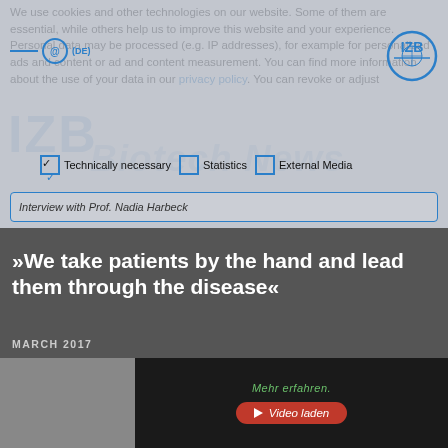We use cookies and other technologies on our website. Some of them are essential, while others help us to improve this website and your experience. Personal data may be processed (e.g. IP addresses), for example for personalized ads and content or ad and content measurement. You can find more information about the use of your data in our privacy policy. You can revoke or adjust
Technically necessary   Statistics   External Media
Interview with Prof. Nadia Harbeck
»We take patients by the hand and lead them through the disease«
MARCH 2017
[Figure (screenshot): Video thumbnail with dark background, green text 'Mehr erfahren.' and red play button labeled 'Video laden']